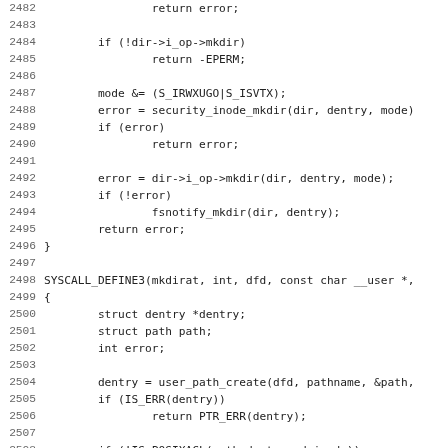[Figure (screenshot): Source code listing showing Linux kernel C code for mkdir system call implementation, lines 2482-2514, with line numbers on the left and monospace code on the right.]